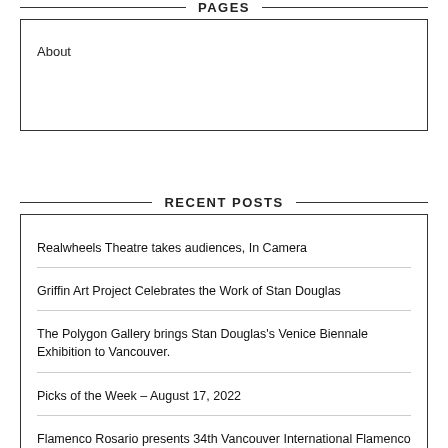PAGES
About
RECENT POSTS
Realwheels Theatre takes audiences, In Camera
Griffin Art Project Celebrates the Work of Stan Douglas
The Polygon Gallery brings Stan Douglas's Venice Biennale Exhibition to Vancouver.
Picks of the Week – August 17, 2022
Flamenco Rosario presents 34th Vancouver International Flamenco Festival